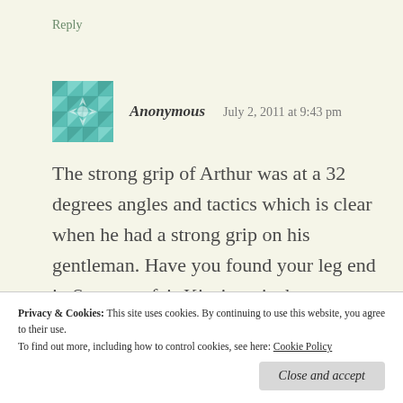Reply
[Figure (illustration): Teal/turquoise geometric quilt-pattern avatar icon]
Anonymous   July 2, 2011 at 9:43 pm
The strong grip of Arthur was at a 32 degrees angles and tactics which is clear when he had a strong grip on his gentleman. Have you found your leg end in Somerset fair Kizzia or is there room in your summerhouse for one
Privacy & Cookies: This site uses cookies. By continuing to use this website, you agree to their use.
To find out more, including how to control cookies, see here: Cookie Policy
Close and accept